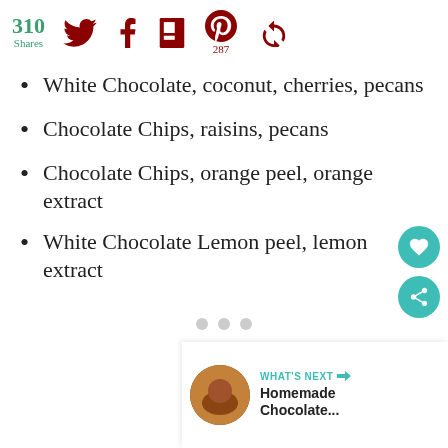310 Shares [Twitter] [Facebook] [Flipboard] [Pinterest 287] [Share]
White Chocolate, coconut, cherries, pecans
Chocolate Chips, raisins, pecans
Chocolate Chips, orange peel, orange extract
White Chocolate Lemon peel, lemon extract